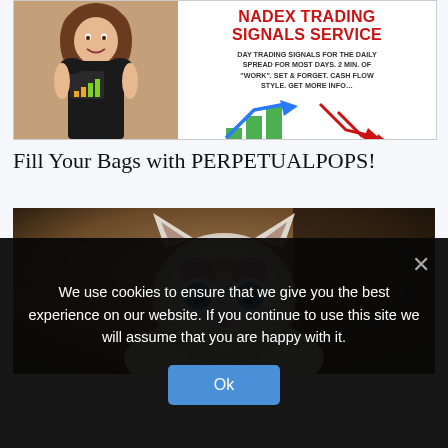[Figure (infographic): NADEX Trading Signals Service advertisement banner with a woman holding a bag with bar chart graphics and red/green arrows indicating market signals]
Fill Your Bags with PERPETUALPOPS!
[Figure (photo): Close-up photo of a white kitten with striking blue eyes looking at the camera]
We use cookies to ensure that we give you the best experience on our website. If you continue to use this site we will assume that you are happy with it.